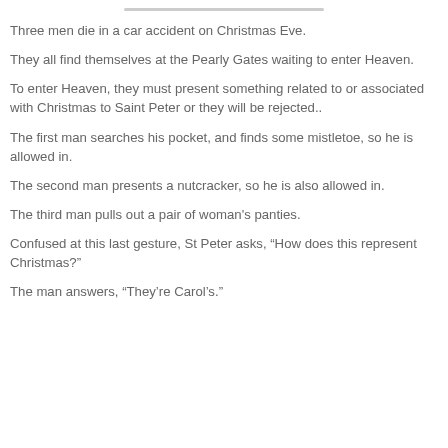Three men die in a car accident on Christmas Eve.
They all find themselves at the Pearly Gates waiting to enter Heaven.
To enter Heaven, they must present something related to or associated with Christmas to Saint Peter or they will be rejected..
The first man searches his pocket, and finds some mistletoe, so he is allowed in.
The second man presents a nutcracker, so he is also allowed in.
The third man pulls out a pair of woman's panties.
Confused at this last gesture, St Peter asks, “How does this represent Christmas?”
The man answers, “They’re Carol’s.”